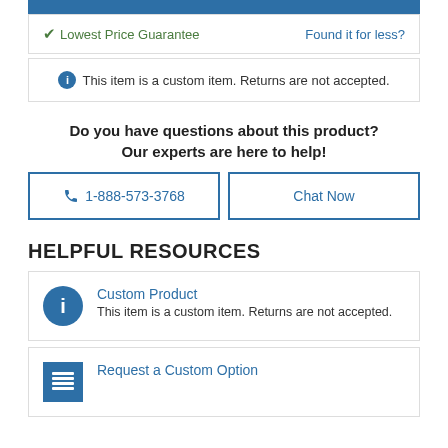Lowest Price Guarantee | Found it for less?
This item is a custom item. Returns are not accepted.
Do you have questions about this product? Our experts are here to help!
1-888-573-3768
Chat Now
HELPFUL RESOURCES
Custom Product
This item is a custom item. Returns are not accepted.
Request a Custom Option